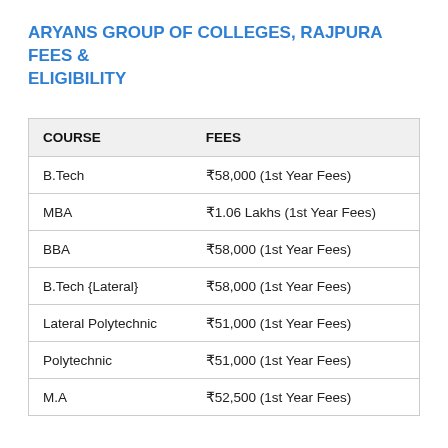ARYANS GROUP OF COLLEGES, RAJPURA FEES & ELIGIBILITY
| COURSE | FEES |
| --- | --- |
| B.Tech | ₹58,000 (1st Year Fees) |
| MBA | ₹1.06 Lakhs (1st Year Fees) |
| BBA | ₹58,000 (1st Year Fees) |
| B.Tech {Lateral} | ₹58,000 (1st Year Fees) |
| Lateral Polytechnic | ₹51,000 (1st Year Fees) |
| Polytechnic | ₹51,000 (1st Year Fees) |
| M.A | ₹52,500 (1st Year Fees) |